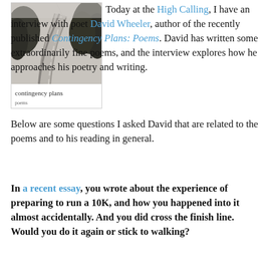[Figure (photo): Book cover of 'contingency plans poems' by David Wheeler showing a winding road with trees in black and white photograph]
Today at the High Calling, I have an interview with poet David Wheeler, author of the recently published Contingency Plans: Poems. David has written some extraordinarily fine poems, and the interview explores how he approaches his poetry and writing.
Below are some questions I asked David that are related to the poems and to his reading in general.
In a recent essay, you wrote about the experience of preparing to run a 10K, and how you happened into it almost accidentally. And you did cross the finish line. Would you do it again or stick to walking?